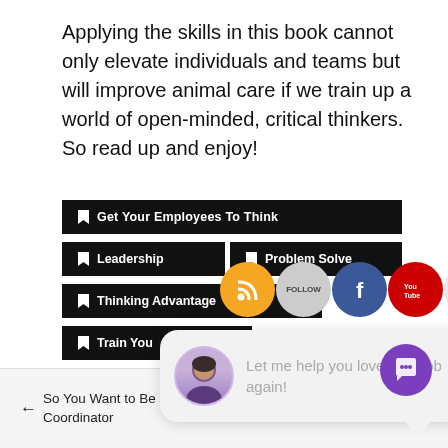Applying the skills in this book cannot only elevate individuals and teams but will improve animal care if we train up a world of open-minded, critical thinkers. So read up and enjoy!
Get Your Employees To Think
Leadership
Problem Solve
Thinking Advantage
Train You...
[Figure (screenshot): Social media follow icons: RSS (orange), Follow (grey), Facebook (blue), YouTube (red), and close button]
[Figure (screenshot): Chat bubble popup with avatar photo of a woman and text: Let me help you love your job again!]
[Figure (screenshot): Purple circular chat/support button]
← So You Want to Be a Zookeeper: Behavioral Husbandry Coordinator